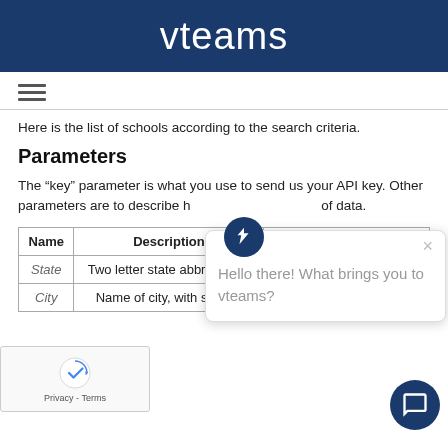vteams
Here is the list of schools according to the search criteria.
Parameters
The "key" parameter is what you use to send us your API key. Other parameters are to describe how you want your set of data.
| Name | Description | Example |
| --- | --- | --- |
| State | Two letter state abbreviation | CA |
| City | Name of city, with spaces | San Francisco becomes |